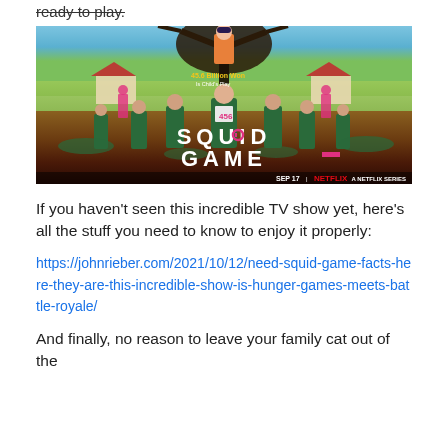ready to play.
[Figure (photo): Squid Game Netflix series promotional poster showing characters in green tracksuits running, with a large doll figure in background, text '45.6 Billion Won Is Child's Play', 'SQUID GAME', 'A NETFLIX SERIES SEP 17 | NETFLIX']
If you haven't seen this incredible TV show yet, here's all the stuff you need to know to enjoy it properly:
https://johnrieber.com/2021/10/12/need-squid-game-facts-here-they-are-this-incredible-show-is-hunger-games-meets-battle-royale/
And finally, no reason to leave your family cat out of the